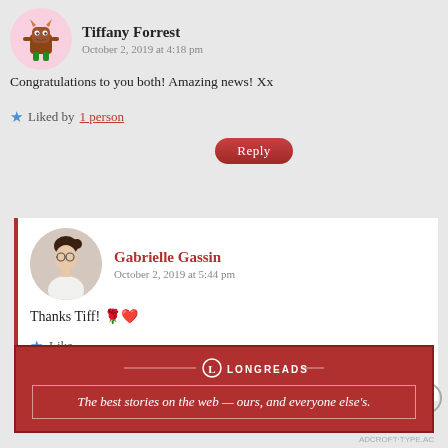Tiffany Forrest
October 2, 2019 at 4:18 pm
Congratulations to you both! Amazing news! Xx
★ Liked by 1 person
Reply
Gabrielle Gassin
October 2, 2019 at 5:44 pm
Thanks Tiff! 🌹❤️
★ Like
Reply
Advertisements
[Figure (logo): Longreads advertisement banner with red background, Longreads logo with circle L, and tagline: The best stories on the web — ours, and everyone else's.]